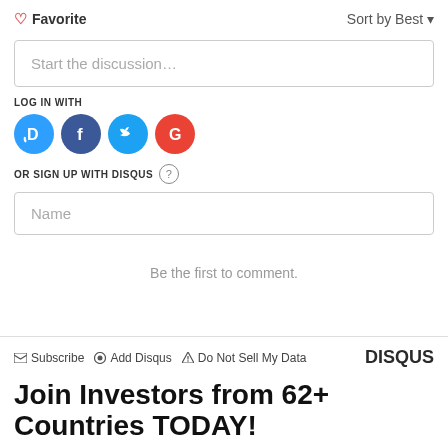♡ Favorite   Sort by Best ▾
Start the discussion...
LOG IN WITH
[Figure (logo): Social login icons: Disqus (blue), Facebook (dark blue), Twitter (light blue), Google (red)]
OR SIGN UP WITH DISQUS ?
Name
Be the first to comment.
✉ Subscribe  ⊙ Add Disqus  ▲ Do Not Sell My Data    DISQUS
Join Investors from 62+ Countries TODAY!